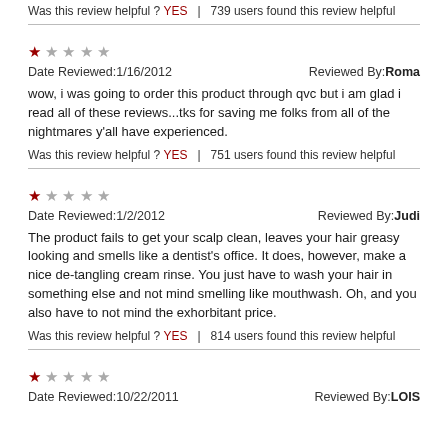Was this review helpful ? YES | 739 users found this review helpful
★ ☆ ☆ ☆ ☆
Date Reviewed:1/16/2012   Reviewed By:Roma
wow, i was going to order this product through qvc but i am glad i read all of these reviews...tks for saving me folks from all of the nightmares y'all have experienced.
Was this review helpful ? YES | 751 users found this review helpful
★ ☆ ☆ ☆ ☆
Date Reviewed:1/2/2012   Reviewed By:Judi
The product fails to get your scalp clean, leaves your hair greasy looking and smells like a dentist's office. It does, however, make a nice de-tangling cream rinse. You just have to wash your hair in something else and not mind smelling like mouthwash. Oh, and you also have to not mind the exhorbitant price.
Was this review helpful ? YES | 814 users found this review helpful
★ ☆ ☆ ☆ ☆
Date Reviewed:10/22/2011   Reviewed By:LOIS